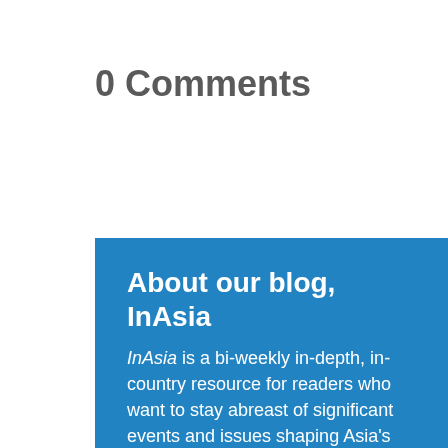0 Comments
About our blog, InAsia
InAsia is a bi-weekly in-depth, in-country resource for readers who want to stay abreast of significant events and issues shaping Asia's